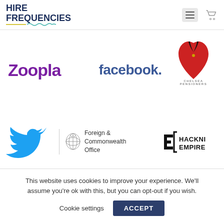HIRE FREQUENCIES
[Figure (logo): Zoopla logo in purple text]
[Figure (logo): Facebook logo in blue text]
[Figure (logo): Chelsea Pensioners logo - red heart shape with black collar and text CHELSEA PENSIONERS]
[Figure (logo): Twitter bird logo in blue]
[Figure (logo): Foreign & Commonwealth Office logo with royal crest]
[Figure (logo): Hackney Empire logo in black]
This website uses cookies to improve your experience. We'll assume you're ok with this, but you can opt-out if you wish.
Cookie settings  ACCEPT